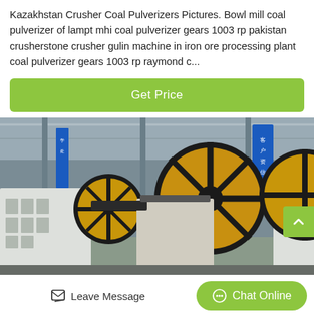Kazakhstan Crusher Coal Pulverizers Pictures. Bowl mill coal pulverizer of lampt mhi coal pulverizer gears 1003 rp pakistan crusherstone crusher gulin machine in iron ore processing plant coal pulverizer gears 1003 rp raymond c...
Get Price
[Figure (photo): Industrial jaw crusher machinery with large black and gold/yellow flywheels in a factory setting. Multiple crusher units visible with Chinese signage in background.]
Leave Message
Chat Online